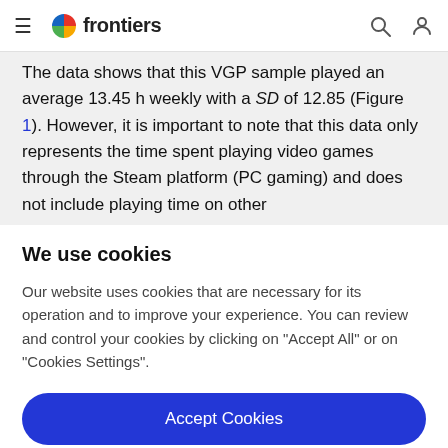frontiers
The data shows that this VGP sample played an average 13.45 h weekly with a SD of 12.85 (Figure 1). However, it is important to note that this data only represents the time spent playing video games through the Steam platform (PC gaming) and does not include playing time on other
We use cookies
Our website uses cookies that are necessary for its operation and to improve your experience. You can review and control your cookies by clicking on "Accept All" or on "Cookies Settings".
Accept Cookies
Cookies Settings